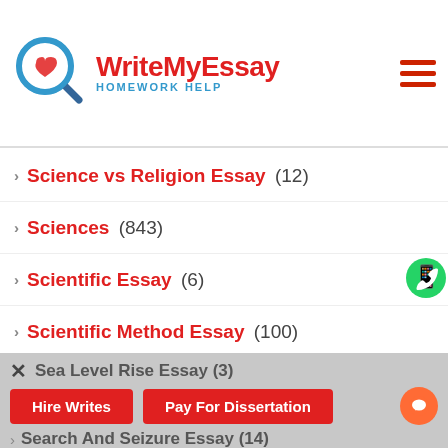WriteMyEssay Homework Help
Science vs Religion Essay (12)
Sciences (843)
Scientific Essay (6)
Scientific Method Essay (100)
Scientist Essay (2)
Scramble For Africa Essay (2)
Sculpture Essay (7)
Sea Essay (25)
Sea Level Rise Essay (3)
Search And Seizure Essay (14)